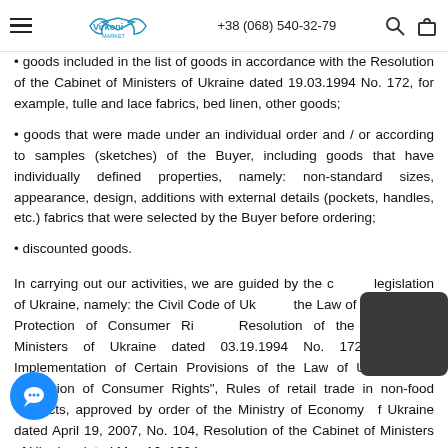Virkoni Market | +38 (068) 540-32-79
• goods included in the list of goods in accordance with the Resolution of the Cabinet of Ministers of Ukraine dated 19.03.1994 No. 172, for example, tulle and lace fabrics, bed linen, other goods;
• goods that were made under an individual order and / or according to samples (sketches) of the Buyer, including goods that have individually defined properties, namely: non-standard sizes, appearance, design, additions with external details (pockets, handles, etc.) fabrics that were selected by the Buyer before ordering;
• discounted goods.
In carrying out our activities, we are guided by the current legislation of Ukraine, namely: the Civil Code of Ukraine, the Law of Ukraine "On Protection of Consumer Rights", Resolution of the Cabinet of Ministers of Ukraine dated 03.19.1994 No. 172 "On the Implementation of Certain Provisions of the Law of Ukraine" On Protection of Consumer Rights", Rules of retail trade in non-food products, approved by order of the Ministry of Economy of Ukraine dated April 19, 2007, No. 104, Resolution of the Cabinet of Ministers of Ukraine dated May 16, 1994